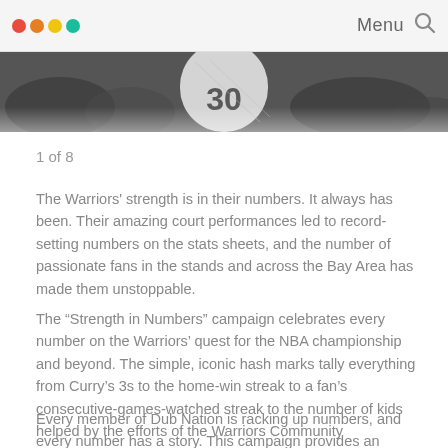Menu
[Figure (photo): Black and white photo of Warriors player with number 30 jersey, crowd in background]
1 of 8
The Warriors' strength is in their numbers. It always has been. Their amazing court performances led to record-setting numbers on the stats sheets, and the number of passionate fans in the stands and across the Bay Area has made them unstoppable.
The “Strength in Numbers” campaign celebrates every number on the Warriors’ quest for the NBA championship and beyond. The simple, iconic hash marks tally everything from Curry’s 3s to the home-win streak to a fan’s consecutive-games-watched streak to the number of kids helped by the efforts of the Warriors Community Foundation.
Every member of Dub Nation is racking up numbers, and every number has a story. This campaign provides an opportunity to